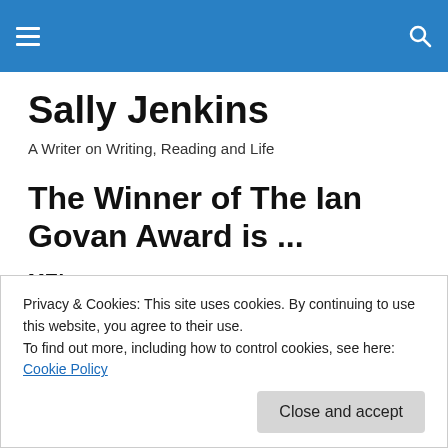Sally Jenkins — site navigation header
Sally Jenkins
A Writer on Writing, Reading and Life
The Winner of The Ian Govan Award is ...
ME!
Privacy & Cookies: This site uses cookies. By continuing to use this website, you agree to their use.
To find out more, including how to control cookies, see here: Cookie Policy